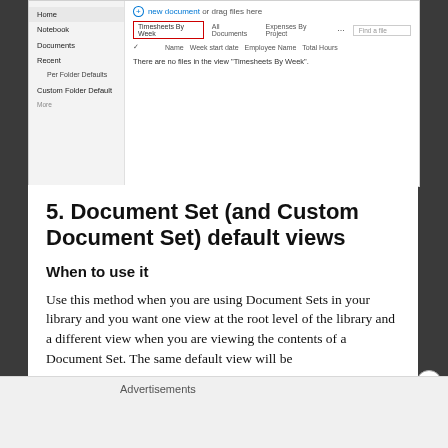[Figure (screenshot): SharePoint/OneDrive document library screenshot showing a sidebar with Home, Notebook, Documents, Recent, Per Folder Defaults, Custom Folder Default items; main area shows '+ new document or drag files here', tabs including 'Timesheets By Week' (highlighted in red border), 'All Documents', 'Expenses By Project', '...', 'Find a file' search box, column headers (checkbox, Name, Week start date, Employee Name, Total Hours), and message 'There are no files in the view "Timesheets By Week".']
5. Document Set (and Custom Document Set) default views
When to use it
Use this method when you are using Document Sets in your library and you want one view at the root level of the library and a different view when you are viewing the contents of a Document Set. The same default view will be
Advertisements